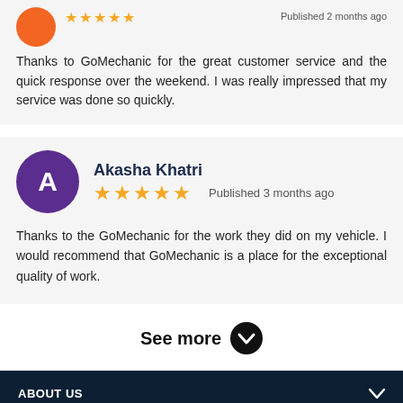Thanks to GoMechanic for the great customer service and the quick response over the weekend. I was really impressed that my service was done so quickly.
Akasha Khatri
★★★★★ Published 3 months ago
Thanks to the GoMechanic for the work they did on my vehicle. I would recommend that GoMechanic is a place for the exceptional quality of work.
See more
ABOUT US
OUR SERVICES